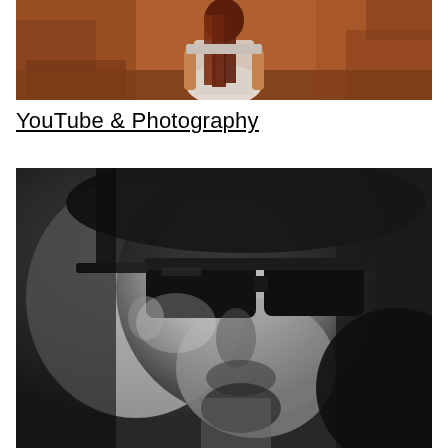[Figure (photo): A woman with long auburn/red hair wearing a white outfit, standing outdoors among reddish-brown rocky terrain, photographed from behind at close range. Warm earth tones dominate the scene.]
YouTube & Photography
[Figure (photo): A close-up black and white portrait photograph of a person wearing large dark sunglasses. The image is high contrast with dramatic shadows, giving a moody, artistic look.]